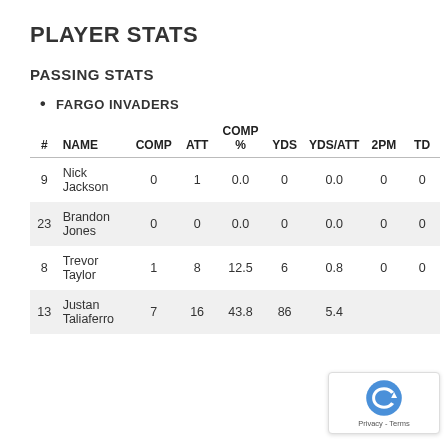PLAYER STATS
PASSING STATS
FARGO INVADERS
| # | NAME | COMP | ATT | COMP % | YDS | YDS/ATT | 2PM | TD |
| --- | --- | --- | --- | --- | --- | --- | --- | --- |
| 9 | Nick Jackson | 0 | 1 | 0.0 | 0 | 0.0 | 0 | 0 |
| 23 | Brandon Jones | 0 | 0 | 0.0 | 0 | 0.0 | 0 | 0 |
| 8 | Trevor Taylor | 1 | 8 | 12.5 | 6 | 0.8 | 0 | 0 |
| 13 | Justan Taliaferro | 7 | 16 | 43.8 | 86 | 5.4 |  |  |